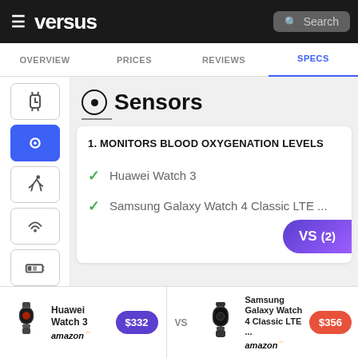versus — Search — OVERVIEW  PRICES  REVIEWS  SPECS
Sensors
1. MONITORS BLOOD OXYGENATION LEVELS
✓ Huawei Watch 3
✓ Samsung Galaxy Watch 4 Classic LTE ...
VS (2)
| Product | Price |
| --- | --- |
| Huawei Watch 3 | $332 |
| Samsung Galaxy Watch 4 Classic LTE ... | $356 |